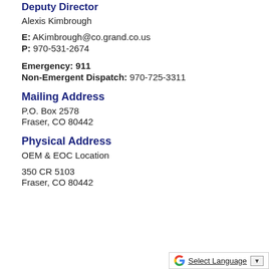Deputy Director
Alexis Kimbrough
E: AKimbrough@co.grand.co.us
P: 970-531-2674
Emergency: 911
Non-Emergent Dispatch: 970-725-3311
Mailing Address
P.O. Box 2578
Fraser, CO 80442
Physical Address
OEM & EOC Location
350 CR 5103
Fraser, CO 80442
Select Language